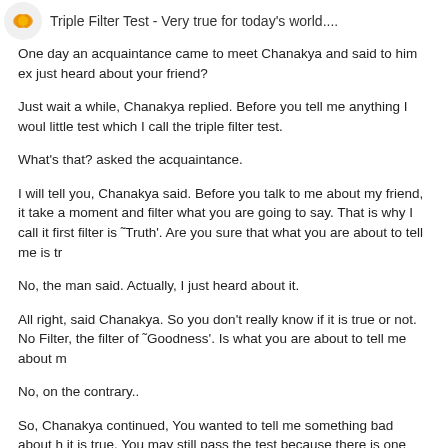Triple Filter Test - Very true for today's world....
One day an acquaintance came to meet Chanakya and said to him ex just heard about your friend?
Just wait a while, Chanakya replied. Before you tell me anything I woul little test which I call the triple filter test.
What's that? asked the acquaintance.
I will tell you, Chanakya said. Before you talk to me about my friend, it take a moment and filter what you are going to say. That is why I call it first filter is ˜Truth’. Are you sure that what you are about to tell me is tr
No, the man said. Actually, I just heard about it.
All right, said Chanakya. So you don't really know if it is true or not. No Filter, the filter of ˜Goodness’. Is what you are about to tell me about m
No, on the contrary..
So, Chanakya continued, You wanted to tell me something bad about h it is true. You may still pass the test because there is one filter left; the what you want to tell me about my friend going to be useful to me?
No, not really...